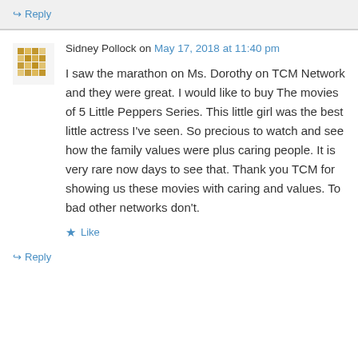↪ Reply
Sidney Pollock on May 17, 2018 at 11:40 pm
I saw the marathon on Ms. Dorothy on TCM Network and they were great. I would like to buy The movies of 5 Little Peppers Series. This little girl was the best little actress I've seen. So precious to watch and see how the family values were plus caring people. It is very rare now days to see that. Thank you TCM for showing us these movies with caring and values. To bad other networks don't.
★ Like
↪ Reply